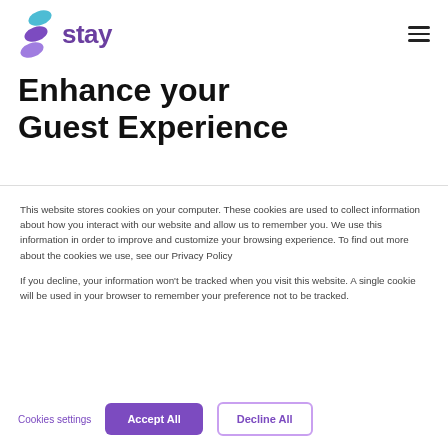stay (logo with hamburger menu)
Enhance your Guest Experience
This website stores cookies on your computer. These cookies are used to collect information about how you interact with our website and allow us to remember you. We use this information in order to improve and customize your browsing experience. To find out more about the cookies we use, see our Privacy Policy
If you decline, your information won't be tracked when you visit this website. A single cookie will be used in your browser to remember your preference not to be tracked.
Cookies settings | Accept All | Decline All